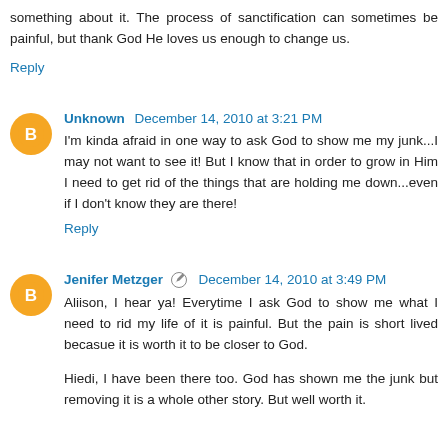something about it. The process of sanctification can sometimes be painful, but thank God He loves us enough to change us.
Reply
Unknown December 14, 2010 at 3:21 PM
I'm kinda afraid in one way to ask God to show me my junk...I may not want to see it! But I know that in order to grow in Him I need to get rid of the things that are holding me down...even if I don't know they are there!
Reply
Jenifer Metzger December 14, 2010 at 3:49 PM
Aliison, I hear ya! Everytime I ask God to show me what I need to rid my life of it is painful. But the pain is short lived becasue it is worth it to be closer to God.
Hiedi, I have been there too. God has shown me the junk but removing it is a whole other story. But well worth it.